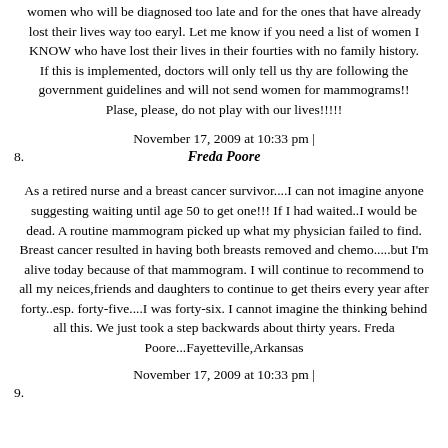women who will be diagnosed too late and for the ones that have already lost their lives way too earyl. Let me know if you need a list of women I KNOW who have lost their lives in their fourties with no family history. If this is implemented, doctors will only tell us thy are following the government guidelines and will not send women for mammograms!! Plase, please, do not play with our lives!!!!!
November 17, 2009 at 10:33 pm |
8. Freda Poore
As a retired nurse and a breast cancer survivor....I can not imagine anyone suggesting waiting until age 50 to get one!!! If I had waited..I would be dead. A routine mammogram picked up what my physician failed to find. Breast cancer resulted in having both breasts removed and chemo.....but I'm alive today because of that mammogram. I will continue to recommend to all my neices,friends and daughters to continue to get theirs every year after forty..esp. forty-five....I was forty-six. I cannot imagine the thinking behind all this. We just took a step backwards about thirty years. Freda Poore...Fayetteville,Arkansas
November 17, 2009 at 10:33 pm |
9.